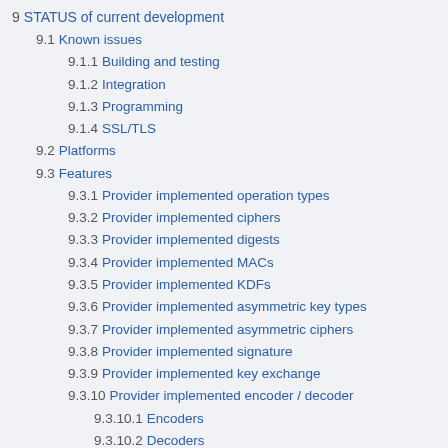9  STATUS of current development
9.1  Known issues
9.1.1  Building and testing
9.1.2  Integration
9.1.3  Programming
9.1.4  SSL/TLS
9.2  Platforms
9.3  Features
9.3.1  Provider implemented operation types
9.3.2  Provider implemented ciphers
9.3.3  Provider implemented digests
9.3.4  Provider implemented MACs
9.3.5  Provider implemented KDFs
9.3.6  Provider implemented asymmetric key types
9.3.7  Provider implemented asymmetric ciphers
9.3.8  Provider implemented signature
9.3.9  Provider implemented key exchange
9.3.10  Provider implemented encoder / decoder
9.3.10.1  Encoders
9.3.10.2  Decoders
9.3.11  Provider implemented OSSL_STORE URI schemes
9.4  Library Context/Provider implementation support in other OpenSSL APIs